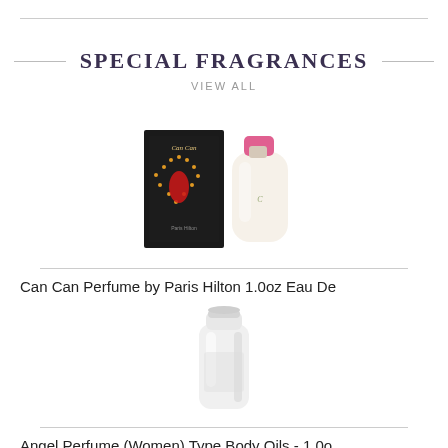SPECIAL FRAGRANCES
VIEW ALL
[Figure (photo): Can Can Perfume by Paris Hilton product photo showing box and bottle]
Can Can Perfume by Paris Hilton 1.0oz Eau De
[Figure (photo): Angel Perfume (Women) Type Body Oils white bottle photo]
Angel Perfume (Women) Type Body Oils - 1.0o